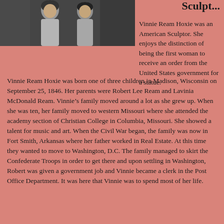[Figure (photo): Black and white photograph of Vinnie Ream Hoxie, a woman in period dress]
Sculptor
Vinnie Ream Hoxie was an American Sculptor.  She enjoys the distinction of being the first woman to receive an order from the United States government for a statue.
Vinnie Ream Hoxie was born one of three children in Madison, Wisconsin on September 25, 1846.  Her parents were Robert Lee Ream and Lavinia McDonald Ream.  Vinnie’s family moved around a lot as she grew up.  When she was ten, her family moved to western Missouri where she attended the academy section of Christian College in Columbia, Missouri.  She showed a talent for music and art.  When the Civil War began, the family was now in Fort Smith, Arkansas where her father worked in Real Estate.  At this time they wanted to move to Washington, D.C.  The family managed to skirt the Confederate Troops in order to get there and upon settling in Washington, Robert was given a government job and Vinnie became a clerk in the Post Office Department.  It was here that Vinnie was to spend most of her life.